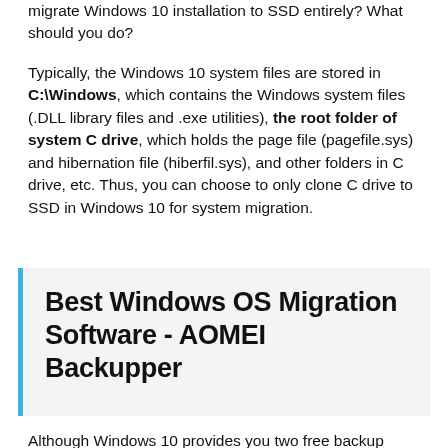migrate Windows 10 installation to SSD entirely? What should you do?
Typically, the Windows 10 system files are stored in C:\Windows, which contains the Windows system files (.DLL library files and .exe utilities), the root folder of system C drive, which holds the page file (pagefile.sys) and hibernation file (hiberfil.sys), and other folders in C drive, etc. Thus, you can choose to only clone C drive to SSD in Windows 10 for system migration.
Best Windows OS Migration Software - AOMEI Backupper
Although Windows 10 provides you two free backup software: Backup and Restore, File History. The previous one is able to backup OS and then restore system to new hard drive. It...